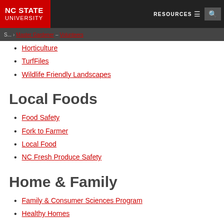NC STATE UNIVERSITY | RESOURCES | Search
Master Gardener – Volunteers
Horticulture
TurfFiles
Wildlife Friendly Landscapes
Local Foods
Food Safety
Fork to Farmer
Local Food
NC Fresh Produce Safety
Home & Family
Family & Consumer Sciences Program
Healthy Homes
Pest Management